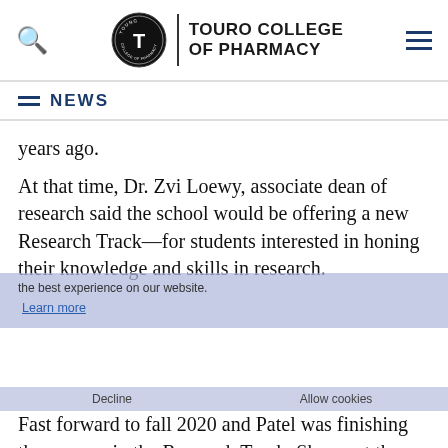TOURO COLLEGE OF PHARMACY
NEWS
years ago.
At that time, Dr. Zvi Loewy, associate dean of research said the school would be offering a new Research Track—for students interested in honing their knowledge and skills in research.
the best experience on our website.
Learn more
Fast forward to fall 2020 and Patel was finishing the courses in the Research Track. She went the distance during the pandemic, working her way through courses in